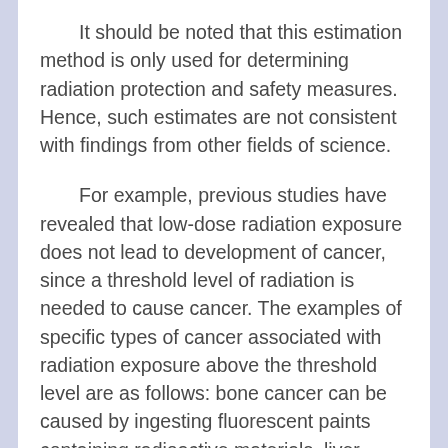It should be noted that this estimation method is only used for determining radiation protection and safety measures. Hence, such estimates are not consistent with findings from other fields of science.
For example, previous studies have revealed that low-dose radiation exposure does not lead to development of cancer, since a threshold level of radiation is needed to cause cancer. The examples of specific types of cancer associated with radiation exposure above the threshold level are as follows: bone cancer can be caused by ingesting fluorescent paints containing radioactive materials, liver